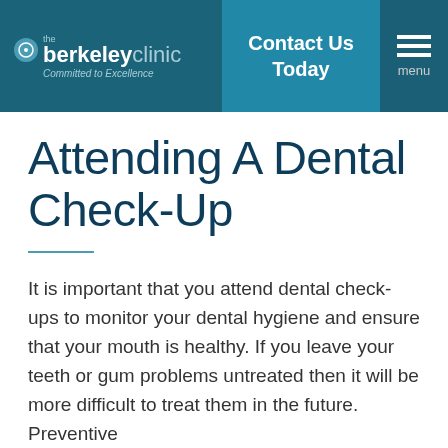the berkeley clinic – Committed to Excellence | Contact Us Today | menu
Attending A Dental Check-Up
It is important that you attend dental check-ups to monitor your dental hygiene and ensure that your mouth is healthy. If you leave your teeth or gum problems untreated then it will be more difficult to treat them in the future. Preventive